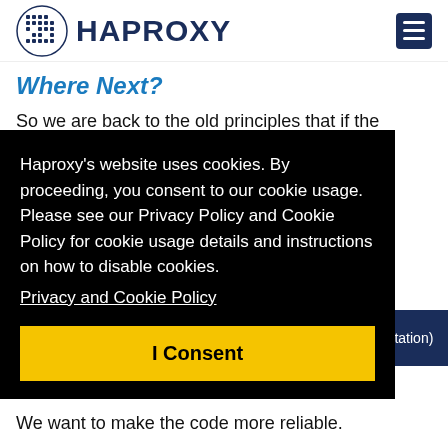HAPROXY
Where Next?
So we are back to the old principles that if the HAProxy process is present, it means that the service is properly delivered. What
Haproxy's website uses cookies. By proceeding, you consent to our cookie usage. Please see our Privacy Policy and Cookie Policy for cookie usage details and instructions on how to disable cookies.
Privacy and Cookie Policy
I Consent
ntation)
We want to make the code more reliable.